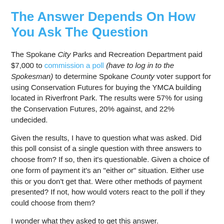The Answer Depends On How You Ask The Question
The Spokane City Parks and Recreation Department paid $7,000 to commission a poll (have to log in to the Spokesman) to determine Spokane County voter support for using Conservation Futures for buying the YMCA building located in Riverfront Park. The results were 57% for using the Conservation Futures, 20% against, and 22% undecided.
Given the results, I have to question what was asked. Did this poll consist of a single question with three answers to choose from? If so, then it's questionable. Given a choice of one form of payment it's an "either or" situation. Either use this or you don't get that. Were other methods of payment presented? If not, how would voters react to the poll if they could choose from them?
I wonder what they asked to get this answer.